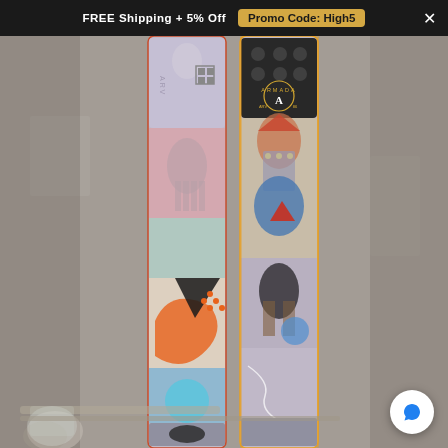FREE Shipping + 5% Off   Promo Code: High5   ×
[Figure (photo): Product photo of two Armada ARV skis with colorful graphic designs featuring collage artwork with knights, horses, geometric shapes in orange, blue, pink, and black tones, displayed vertically against a concrete wall background with metal rail props at the bottom]